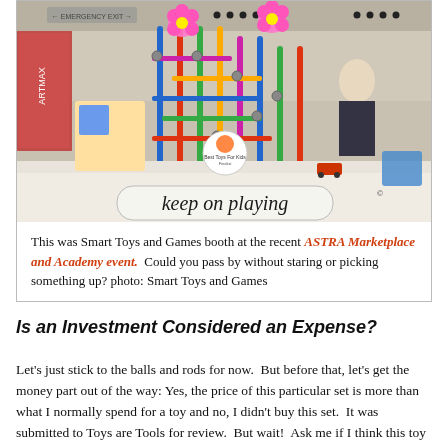[Figure (photo): Photo of Smart Toys and Games booth at ASTRA Marketplace and Academy event, showing colorful construction toy structures made of balls and rods, with a sign reading 'keep on playing' at the bottom]
This was Smart Toys and Games booth at the recent ASTRA Marketplace and Academy event.  Could you pass by without staring or picking something up? photo: Smart Toys and Games
Is an Investment Considered an Expense?
Let's just stick to the balls and rods for now.  But before that, let's get the money part out of the way: Yes, the price of this particular set is more than what I normally spend for a toy and no, I didn't buy this set.  It was submitted to Toys are Tools for review.  But wait!  Ask me if I think this toy is worth